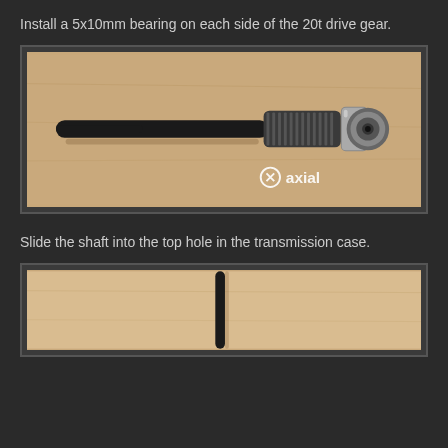Install a 5x10mm bearing on each side of the 20t drive gear.
[Figure (photo): Photo of a 20t drive gear shaft assembly with a bearing installed on the end, shown on a wooden surface. The Axial logo is visible in the lower right corner.]
Slide the shaft into the top hole in the transmission case.
[Figure (photo): Partial photo showing the shaft being inserted into the transmission case, shot from above on a wooden surface.]